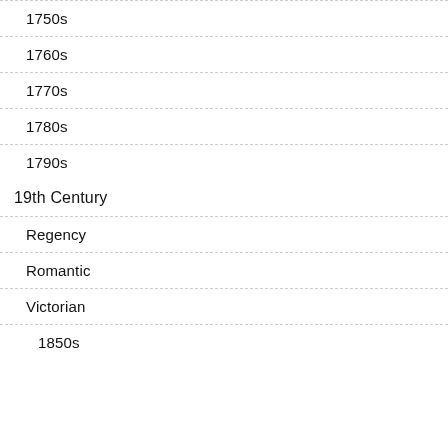1750s
1760s
1770s
1780s
1790s
19th Century
Regency
Romantic
Victorian
1850s